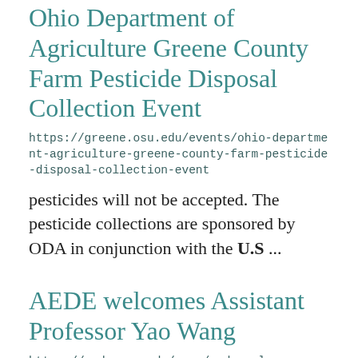Ohio Department of Agriculture Greene County Farm Pesticide Disposal Collection Event
https://greene.osu.edu/events/ohio-department-agriculture-greene-county-farm-pesticide-disposal-collection-event
pesticides will not be accepted. The pesticide collections are sponsored by ODA in conjunction with the U.S ...
AEDE welcomes Assistant Professor Yao Wang
https://aede.osu.edu/news/aede-welcomes-assistant-professor-yao-wang
development economics. Wang's current research focuses on the impact of public